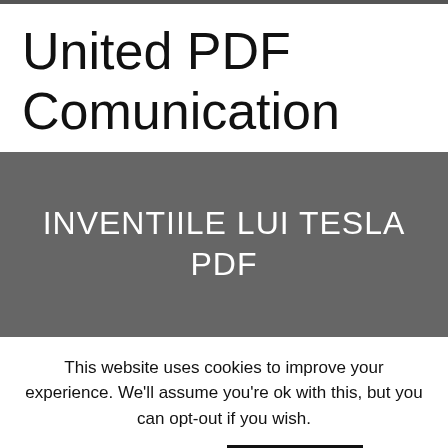United PDF Comunication
[Figure (other): Dark gray banner with white text reading INVENTIILE LUI TESLA PDF]
This website uses cookies to improve your experience. We'll assume you're ok with this, but you can opt-out if you wish.
Cookie settings   ACCEPT